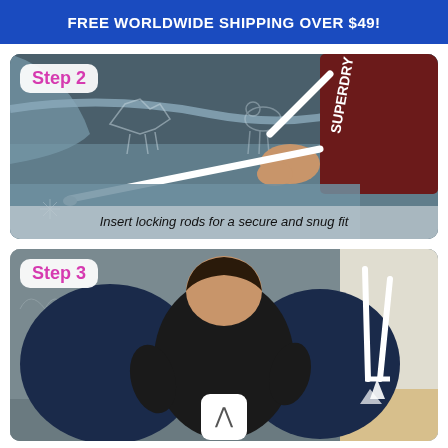FREE WORLDWIDE SHIPPING OVER $49!
[Figure (photo): Step 2: Person inserting locking rods into a blue patterned fabric mat/cover on a sofa. White locking rods visible. Person wearing a dark red Superdry hoodie.]
Insert locking rods for a secure and snug fit
[Figure (photo): Step 3: Person seen from behind installing or adjusting a dark navy blue cover/mat on a bed, with white locking rods visible on the right side.]